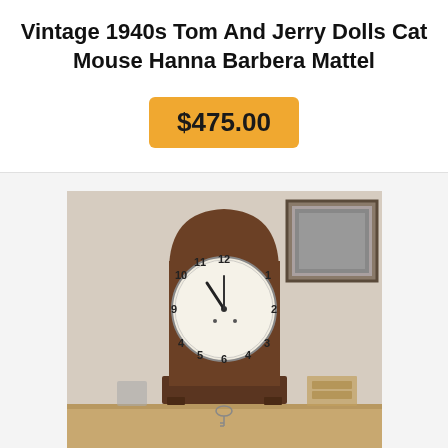Vintage 1940s Tom And Jerry Dolls Cat Mouse Hanna Barbera Mattel
$475.00
[Figure (photo): A vintage mantel clock with a dark wood arched case, white clock face showing arabic numerals, clock hands pointing to approximately 4:49, and a small decorative key at the bottom front.]